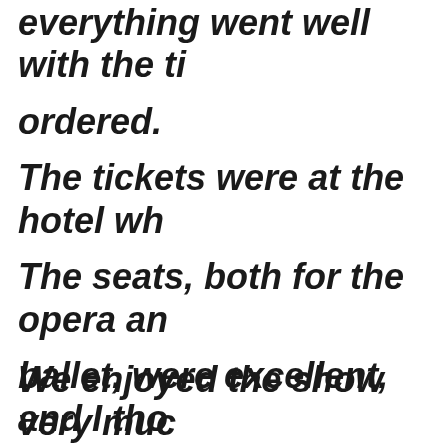everything went well with the tickets ordered. The tickets were at the hotel wh... The seats, both for the opera and ballet, were excellent, and I thoroughly enjoyed the performances. Thank you for your help. 26 June 2009        Donald, Unite...
We enjoyed the show very much...